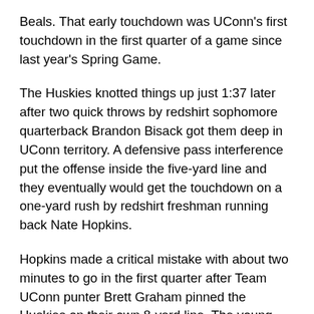Beals. That early touchdown was UConn's first touchdown in the first quarter of a game since last year's Spring Game.
The Huskies knotted things up just 1:37 later after two quick throws by redshirt sophomore quarterback Brandon Bisack got them deep in UConn territory. A defensive pass interference put the offense inside the five-yard line and they eventually would get the touchdown on a one-yard rush by redshirt freshman running back Nate Hopkins.
Hopkins made a critical mistake with about two minutes to go in the first quarter after Team UConn punter Brett Graham pinned the Huskies on their own 8-yard line. The young running back fumbled and couldn't stop the ball from rolling into his own end zone, where defensive back Tahj Herring-Wilson fell on the ball and put UConn up 14-7. Despite the mistake, the offense was doing surprisingly well in the first